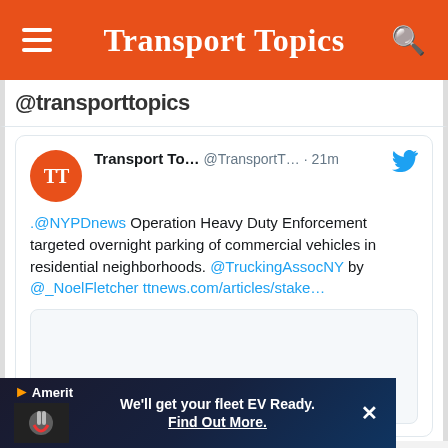Transport Topics
@transporttopics
Transport To... @TransportT... · 21m
.@NYPDnews Operation Heavy Duty Enforcement targeted overnight parking of commercial vehicles in residential neighborhoods. @TruckingAssocNY by @_NoelFletcher ttnews.com/articles/stake…
[Figure (screenshot): Embedded tweet image box (blank/thumbnail area)]
[Figure (photo): Amerit ad banner: EV charging plug image with text 'We'll get your fleet EV Ready. Find Out More.']